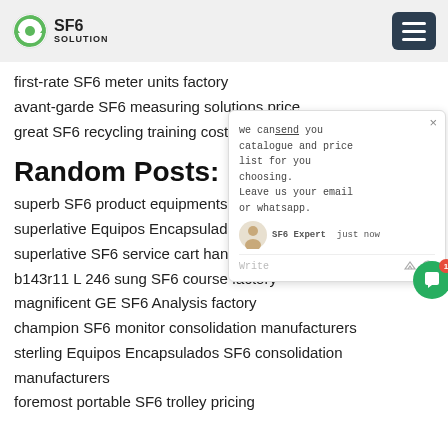SF6 SOLUTION
first-rate SF6 meter units factory
avant-garde SF6 measuring solutions price
great SF6 recycling training cost
Random Posts:
superb SF6 product equipments pricing
superlative Equipos Encapsulados SF6 ost
superlative SF6 service cart handling pr
b143r11 L 246 sung SF6 course factory
magnificent GE SF6 Analysis factory
champion SF6 monitor consolidation manufacturers
sterling Equipos Encapsulados SF6 consolidation manufacturers
foremost portable SF6 trolley pricing
[Figure (screenshot): Chat popup overlay: we can send you catalogue and price list for you choosing. Leave us your email or whatsapp. SF6 Expert just now. Write area with thumbs up and attachment icons. Green chat button with red badge showing 1.]